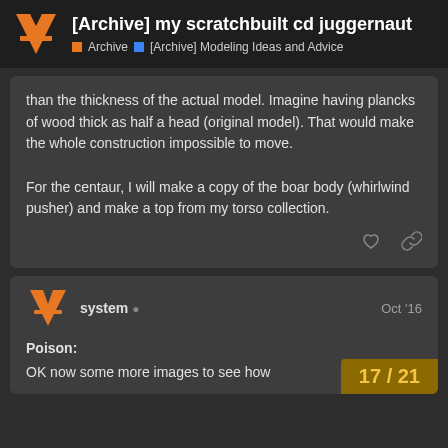[Archive] my scratchbuilt cd juggernaut — Archive > [Archive] Modeling Ideas and Advice
than the thickness of the actual model. Imagine having plancks of wood thick as half a head (original model). That would make the whole construction impossible to move.

For the centaur, I will make a copy of the boar body (whirlwind pusher) and make a top from my torso collection.
system  Oct '16

Poison:

OK now some more images to see how